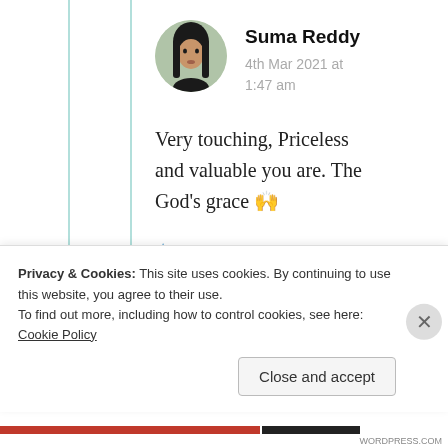Suma Reddy
4th Mar 2021 at 1:47 am
Very touching, Priceless and valuable you are. The God's grace 🙌
★ Liked by 1 person
Privacy & Cookies: This site uses cookies. By continuing to use this website, you agree to their use. To find out more, including how to control cookies, see here: Cookie Policy
Close and accept